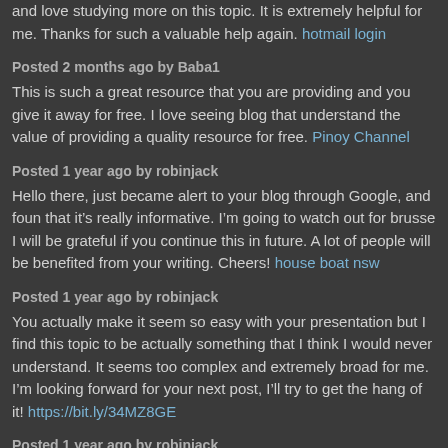and love studying more on this topic. It is extremely helpful for me. Thanks for such a valuable help again. hotmail login
Posted 2 months ago by Baba1
This is such a great resource that you are providing and you give it away for free. I love seeing blog that understand the value of providing a quality resource for free. Pinoy Channel
Posted 1 year ago by robinjack
Hello there, just became alert to your blog through Google, and found that it’s really informative. I’m going to watch out for brusse I will be grateful if you continue this in future. A lot of people will be benefited from your writing. Cheers! house boat nsw
Posted 1 year ago by robinjack
You actually make it seem so easy with your presentation but I find this topic to be actually something that I think I would never understand. It seems too complex and extremely broad for me. I’m looking forward for your next post, I’ll try to get the hang of it! https://bit.ly/34MZ8GE
Posted 1 year ago by robinjack